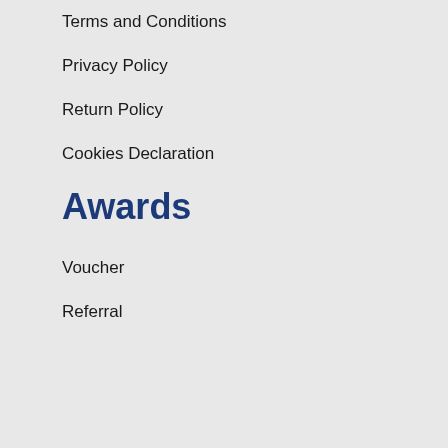Terms and Conditions
Privacy Policy
Return Policy
Cookies Declaration
Awards
Voucher
Referral
We use cookies on our website to give you the most relevant experience by remembering your preferences and repeat visits. By clicking “Accept”, you consent to the use of ALL the cookies.
e settings
ACCEPT